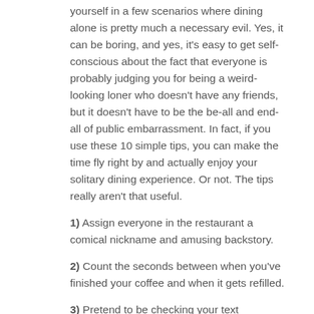yourself in a few scenarios where dining alone is pretty much a necessary evil. Yes, it can be boring, and yes, it's easy to get self-conscious about the fact that everyone is probably judging you for being a weird-looking loner who doesn't have any friends, but it doesn't have to be the be-all and end-all of public embarrassment. In fact, if you use these 10 simple tips, you can make the time fly right by and actually enjoy your solitary dining experience. Or not. The tips really aren't that useful.
1) Assign everyone in the restaurant a comical nickname and amusing backstory.
2) Count the seconds between when you've finished your coffee and when it gets refilled.
3) Pretend to be checking your text messages because you're just so important.
4) Request a table for two and then garner sympathy